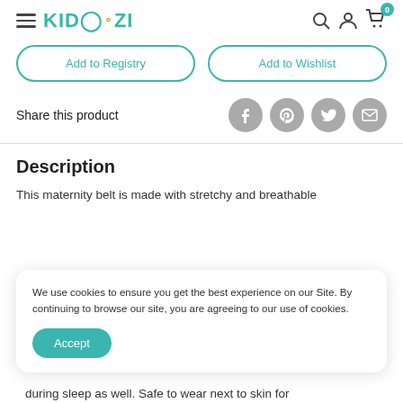KIDOOZI — navigation header with hamburger menu, logo, search, account, and cart icons
Add to Registry
Add to Wishlist
Share this product
Description
This maternity belt is made with stretchy and breathable
We use cookies to ensure you get the best experience on our Site. By continuing to browse our site, you are agreeing to our use of cookies.
Accept
during sleep as well. Safe to wear next to skin for